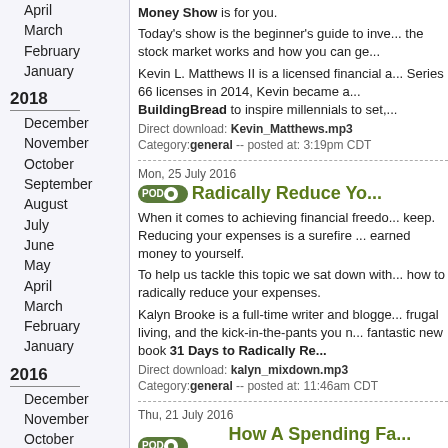April
March
February
January
2018
December
November
October
September
August
July
June
May
April
March
February
January
2016
December
November
October
September
August
July
June
May
April
March
February
January
Money Show is for you.

Today's show is the beginner's guide to inve... the stock market works and how you can ge...

Kevin L. Matthews II is a licensed financial a... Series 66 licenses in 2014, Kevin became a... BuildingBread to inspire millennials to set,...

Direct download: Kevin_Matthews.mp3
Category: general -- posted at: 3:19pm CDT
Mon, 25 July 2016
Radically Reduce Yo...

When it comes to achieving financial freedo... keep. Reducing your expenses is a surefire ... earned money to yourself.

To help us tackle this topic we sat down with... how to radically reduce your expenses.

Kalyn Brooke is a full-time writer and blogge... frugal living, and the kick-in-the-pants you n... fantastic new book 31 Days to Radically Re...

Direct download: kalyn_mixdown.mp3
Category: general -- posted at: 11:46am CDT
Thu, 21 July 2016
How A Spending Fa... Year

Not very long ago, Anna was facing the fact... to make a big change. As a result of that bi...